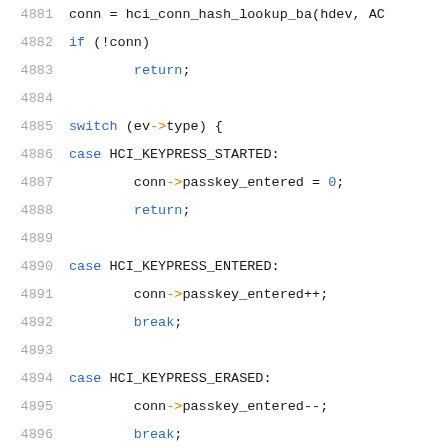[Figure (screenshot): Source code listing showing lines 4881-4902 of a C/C++ file with syntax highlighting. The code handles HCI keypress events in a switch statement, with cases for HCI_KEYPRESS_STARTED, HCI_KEYPRESS_ENTERED, HCI_KEYPRESS_ERASED, HCI_KEYPRESS_CLEARED, and HCI_KEYPRESS_COMPLETED.]